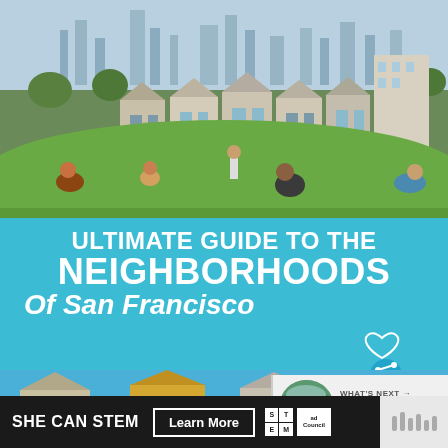[Figure (photo): Alamo Square park in San Francisco with the famous Painted Ladies Victorian houses in the background and the city skyline, people relaxing on the grass]
ULTIMATE GUIDE TO THE NEIGHBORHOODS Of San Francisco
[Figure (infographic): What's Next panel: thumbnail image of San Francisco view with text 'WHAT'S NEXT → The Best Views of Sa...']
[Figure (photo): Bottom strip photo showing Victorian architecture of San Francisco neighborhood]
SHE CAN STEM   Learn More
[Figure (logo): STEM and Ad Council logos]